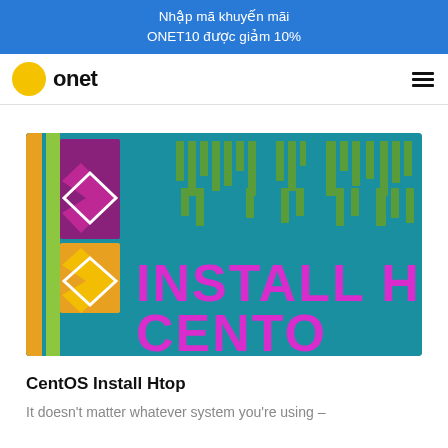Nhập mã khuyến mãi ONET10 được giảm 10%
[Figure (logo): Onet logo with yellow circle and bold 'onet' text, with hamburger menu icon on the right]
[Figure (photo): Colorful graphic showing 'INSTALL HTOP ON CENTOS' text with CentOS logo on teal background]
CentOS Install Htop
It doesn't matter whatever system you're using –